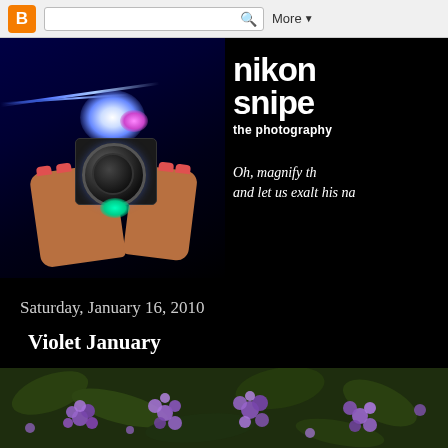B [Blogger navbar] Search More
[Figure (screenshot): Nikon Sniper photography blog header banner. Left side: dark photo of hands holding a camera with colorful lens flare (blue, pink, green glows). Right side: white bold text 'nikon snipe' with red dot logo, subtitle 'the photography', and italic white text 'Oh, magnify th... and let us exalt his na...']
Saturday, January 16, 2010
Violet January
[Figure (photo): Close-up photo of violet/purple flowers (likely lilac or heliotrope) with green leaves, partially cropped at bottom of page.]